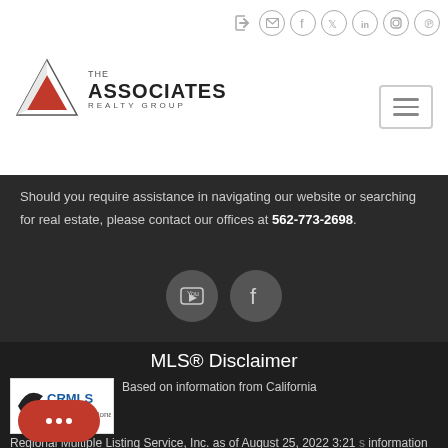[Figure (logo): The Associates Realty Group logo with red triangle/arrow mark and company name]
Should you require assistance in navigating our website or searching for real estate, please contact our offices at 562-773-2698.
MLS® Disclaimer
[Figure (logo): CRMLS logo - California Regional Multiple Listing Service]
Based on information from California Regional Multiple Listing Service, Inc. as of August 25, 2022 3:21 information is for your personal, non-commercial use and may not be used for any purpose other than to identify